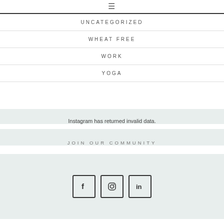≡
UNCATEGORIZED
WHEAT FREE
WORK
YOGA
Instagram has returned invalid data.
JOIN OUR COMMUNITY
[Figure (other): Three social media icon buttons: Facebook (f), Instagram (camera icon), LinkedIn (in), each in a rounded-corner square border]